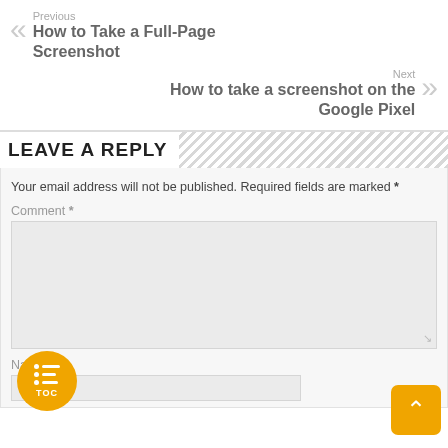Previous
How to Take a Full-Page Screenshot
Next
How to take a screenshot on the Google Pixel
LEAVE A REPLY
Your email address will not be published. Required fields are marked *
Comment *
Name *
[Figure (screenshot): TOC table-of-contents floating button (orange circle) and scroll-to-top orange button]